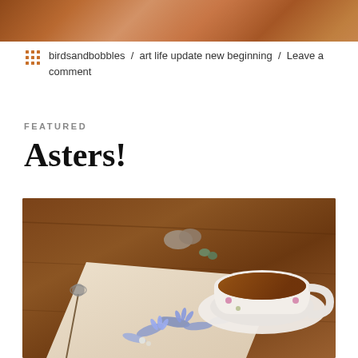[Figure (photo): Top partial image showing warm brown/orange tones, appears to be a cropped photo from a previous post]
birdsandbobbles / art life update new beginning / Leave a comment
FEATURED
Asters!
[Figure (photo): Photo of a sketchbook with botanical illustration of blue aster flowers, next to a floral teacup with tea, on a rustic wooden table with small stones and dried flowers]